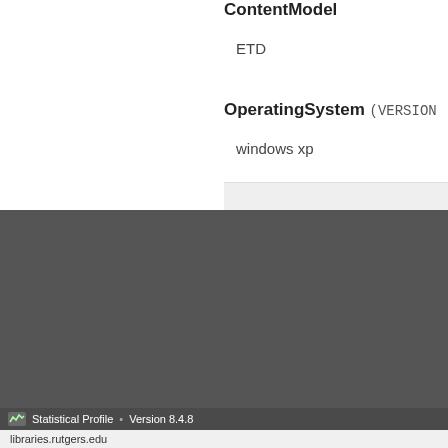ContentModel
ETD
OperatingSystem (VERSION
windows xp
About Us
How does RUcore work?
Policies
Services
Participate in RUcore
Collections
Infrastructure
Trusted Repository
Preservation
Understanding Metad
Technical Glossary
Statistical Profile • Version 8.4.8
libraries.rutgers.edu